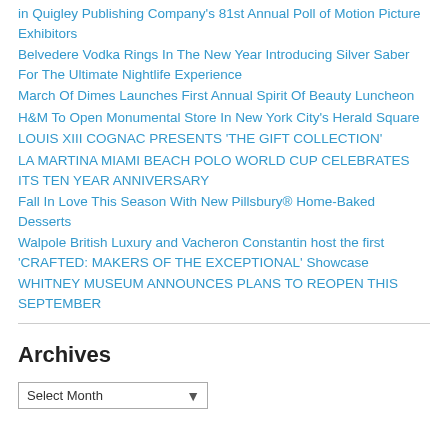in Quigley Publishing Company's 81st Annual Poll of Motion Picture Exhibitors
Belvedere Vodka Rings In The New Year Introducing Silver Saber For The Ultimate Nightlife Experience
March Of Dimes Launches First Annual Spirit Of Beauty Luncheon
H&M To Open Monumental Store In New York City's Herald Square
LOUIS XIII COGNAC PRESENTS 'THE GIFT COLLECTION'
LA MARTINA MIAMI BEACH POLO WORLD CUP CELEBRATES ITS TEN YEAR ANNIVERSARY
Fall In Love This Season With New Pillsbury® Home-Baked Desserts
Walpole British Luxury and Vacheron Constantin host the first 'CRAFTED: MAKERS OF THE EXCEPTIONAL' Showcase
WHITNEY MUSEUM ANNOUNCES PLANS TO REOPEN THIS SEPTEMBER
Archives